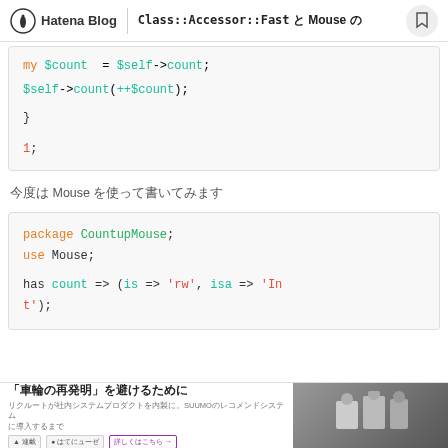Hatena Blog | Class::Accessor::Fast と Mouse の
[Figure (screenshot): Code block showing Perl code: my $count = $self->count; $self->count(++$count); } 1;]
今度は Mouse を使って書いてみます
[Figure (screenshot): Code block showing Perl code: package CountupMouse; use Mouse; has count => (is => 'rw', isa => 'Int');]
「車輪の再発明」を避けるために